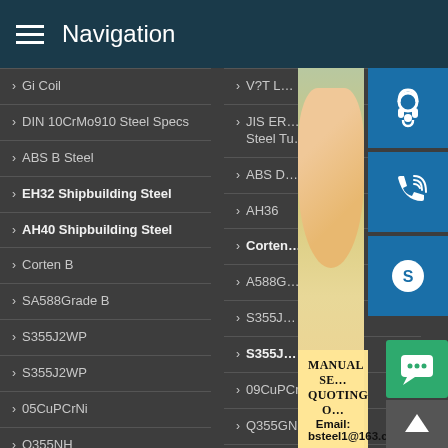Navigation
Gi Coil
DIN 10CrMo910 Steel Specs
ABS B Steel
EH32 Shipbuilding Steel
AH40 Shipbuilding Steel
Corten B
SA588Grade B
S355J2WP
S355J2WP
05CuPCrNi
Q355NH
A285 Grade C
CA387 Grade 11 Class2
V?T L…
JIS ER… Steel Tu…
ABS D…
AH36
Corten…
A588G…
S355J…
S355J…
09CuPCrNi-A
Q355GNH
A204 Grade B
A387 Grade 11 Class1
A387 Grade 12 Class1
[Figure (photo): Customer service representative (woman with headset) partially visible, overlaid with contact icons]
MANUAL SE… QUOTING O… Email: bsteel1@163.com